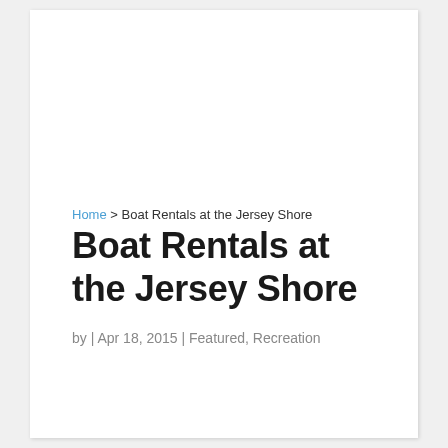Home > Boat Rentals at the Jersey Shore
Boat Rentals at the Jersey Shore
by | Apr 18, 2015 | Featured, Recreation